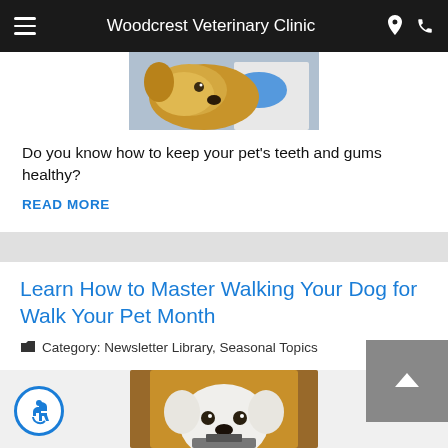Woodcrest Veterinary Clinic
[Figure (photo): A golden dog being examined by a veterinarian wearing blue gloves]
Do you know how to keep your pet's teeth and gums healthy?
READ MORE
Learn How to Master Walking Your Dog for Walk Your Pet Month
Category: Newsletter Library, Seasonal Topics
[Figure (photo): A white Labrador dog looking through a doorway or frame]